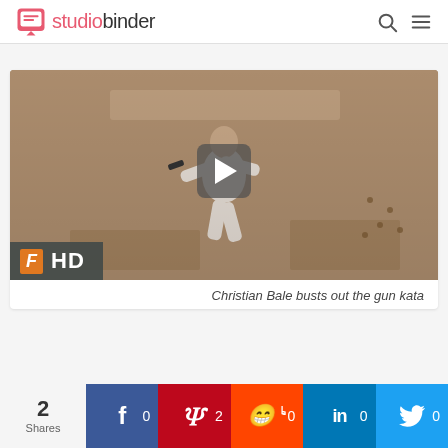studiobinder
[Figure (screenshot): Video thumbnail showing Christian Bale in a white suit performing gun kata from the film Equilibrium. A play button is overlaid in the center. Bottom-left shows an HD badge with Fandor logo.]
Christian Bale busts out the gun kata
2 Shares  0  2  0  0  0